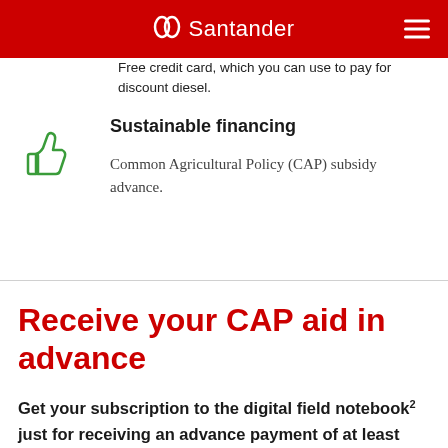Santander
Free credit card, which you can use to pay for discount diesel.
Sustainable financing
Common Agricultural Policy (CAP) subsidy advance.
Receive your CAP aid in advance
Get your subscription to the digital field notebook² just for receiving an advance payment of at least €2,500, for a more sustainable and digital agriculture.